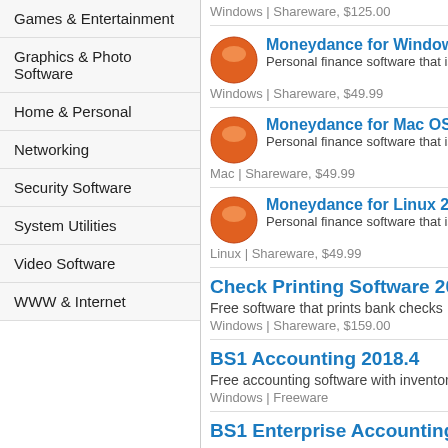Games & Entertainment
Graphics & Photo Software
Home & Personal
Networking
Security Software
System Utilities
Video Software
WWW & Internet
Windows | Shareware, $125.00
Moneydance for Windows
Personal finance software that is b...
Windows | Shareware, $49.99
Moneydance for Mac OS X
Personal finance software that is b...
Mac | Shareware, $49.99
Moneydance for Linux 20...
Personal finance software that is b...
Linux | Shareware, $49.99
Check Printing Software 2015
Free software that prints bank checks
Windows | Shareware, $159.00
BS1 Accounting 2018.4
Free accounting software with inventory
Windows | Freeware
BS1 Enterprise Accounting with...